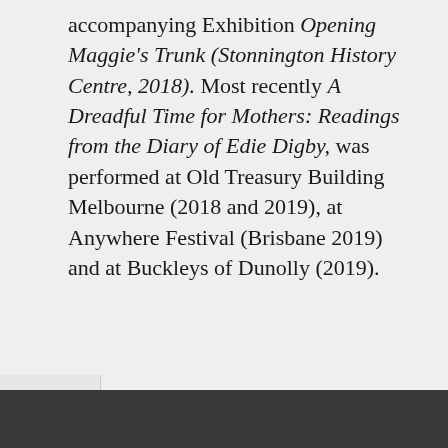accompanying Exhibition Opening Maggie's Trunk (Stonnington History Centre, 2018). Most recently A Dreadful Time for Mothers: Readings from the Diary of Edie Digby, was performed at Old Treasury Building Melbourne (2018 and 2019), at Anywhere Festival (Brisbane 2019) and at Buckleys of Dunolly (2019).
egister interest in finding out more!